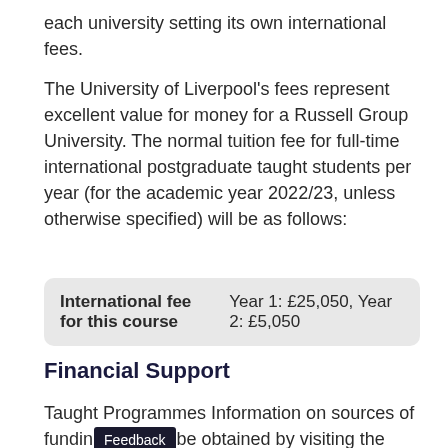each university setting its own international fees.
The University of Liverpool's fees represent excellent value for money for a Russell Group University. The normal tuition fee for full-time international postgraduate taught students per year (for the academic year 2022/23, unless otherwise specified) will be as follows:
| International fee for this course | Year 1: £25,050, Year 2: £5,050 |
Financial Support
Taught Programmes Information on sources of funding can be obtained by visiting the